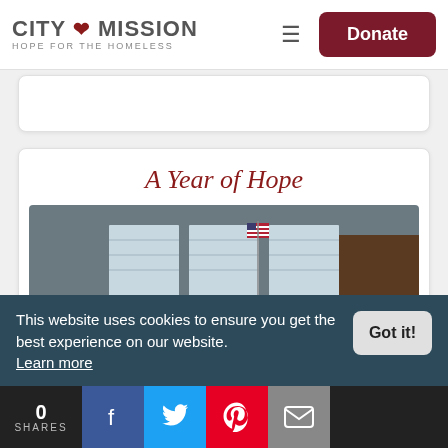CITY MISSION — HOPE FOR THE HOMELESS | Donate
A Year of Hope
[Figure (photo): Interior photo of a common room with dark blue couches, wooden chairs, an American flag, windows with blinds, and a kitchen area in the background.]
This website uses cookies to ensure you get the best experience on our website. Learn more
Got it!
0 SHARES — Facebook, Twitter, Pinterest, Email social share buttons